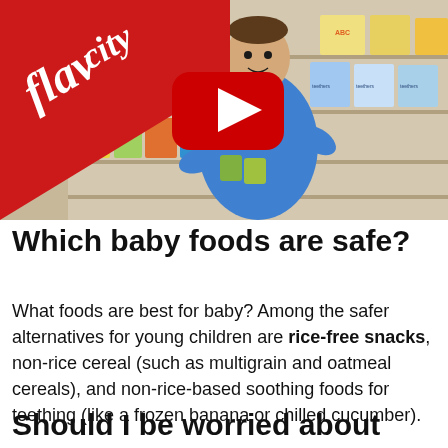[Figure (screenshot): YouTube video thumbnail showing a man in a blue shirt holding baby food jars in a grocery store baby food aisle. The FlavCity logo (red diagonal banner with white cursive text) appears in the top-left. A large red YouTube play button is centered on the image.]
Which baby foods are safe?
What foods are best for baby? Among the safer alternatives for young children are rice-free snacks, non-rice cereal (such as multigrain and oatmeal cereals), and non-rice-based soothing foods for teething (like a frozen banana or chilled cucumber).
Should I be worried about